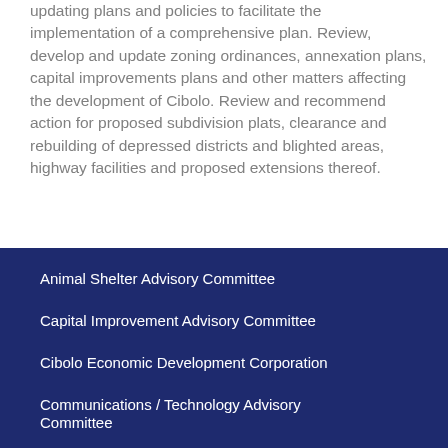updating plans and policies to facilitate the implementation of a comprehensive plan. Review, develop and update zoning ordinances, annexation plans, capital improvements plans and other matters affecting the development of Cibolo. Review and recommend action for proposed subdivision plats, clearance and rebuilding of depressed districts and blighted areas, highway facilities and proposed extensions thereof.
Animal Shelter Advisory Committee
Capital Improvement Advisory Committee
Cibolo Economic Development Corporation
Communications / Technology Advisory Committee